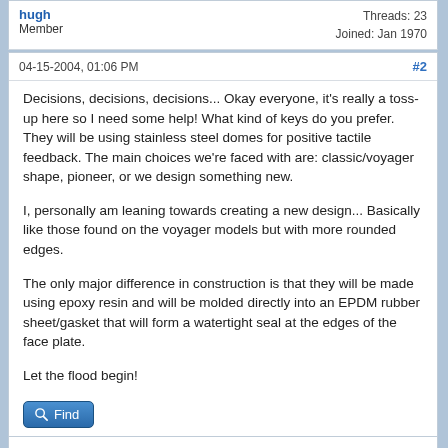hugh — Member | Threads: 23 | Joined: Jan 1970
04-15-2004, 01:06 PM
#2
Decisions, decisions, decisions... Okay everyone, it's really a toss-up here so I need some help! What kind of keys do you prefer. They will be using stainless steel domes for positive tactile feedback. The main choices we're faced with are: classic/voyager shape, pioneer, or we design something new.

I, personally am leaning towards creating a new design... Basically like those found on the voyager models but with more rounded edges.

The only major difference in construction is that they will be made using epoxy resin and will be molded directly into an EPDM rubber sheet/gasket that will form a watertight seal at the edges of the face plate.

Let the flood begin!